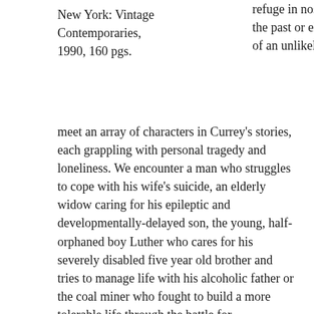New York: Vintage Contemporaries, 1990, 160 pgs.
refuge in nostalgic images of the past or else in the dreams of an unlikely future. We meet an array of characters in Currey's stories, each grappling with personal tragedy and loneliness. We encounter a man who struggles to cope with his wife's suicide, an elderly widow caring for his epileptic and developmentally-delayed son, the young, half-orphaned boy Luther who cares for his severely disabled five year old brother and tries to manage life with his alcoholic father or the coal miner who fought to build a more tolerable life through the battle for unionization, only to end up with black lung disease, unable to breathe.
The concept of redemption, seemingly out of reach, connects the stories in Currey's anthology. People hope